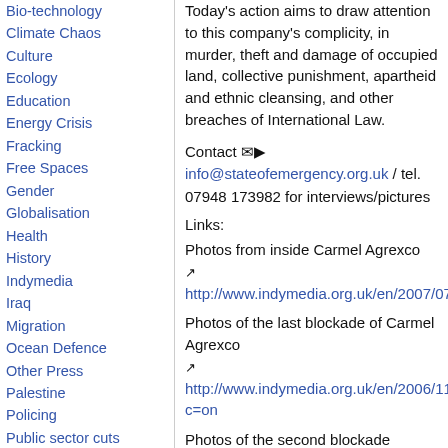Bio-technology
Climate Chaos
Culture
Ecology
Education
Energy Crisis
Fracking
Free Spaces
Gender
Globalisation
Health
History
Indymedia
Iraq
Migration
Ocean Defence
Other Press
Palestine
Policing
Public sector cuts
Repression
Social Struggles
Technology
Terror War
Today's action aims to draw attention to this company's complicity, in murder, theft and damage of occupied land, collective punishment, apartheid and ethnic cleansing, and other breaches of International Law.
Contact ✉▶ info@stateofemergency.org.uk / tel. 07948 173982 for interviews/pictures
Links:
Photos from inside Carmel Agrexco ↗ http://www.indymedia.org.uk/en/2007/07/37...
Photos of the last blockade of Carmel Agrexco ↗ http://www.indymedia.org.uk/en/2006/11/35... c=on
Photos of the second blockade ↗